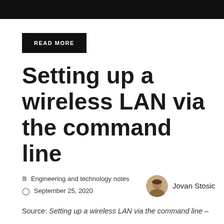[Figure (other): Black banner bar at top of page]
READ MORE
Setting up a wireless LAN via the command line
Engineering and technology notes
September 25, 2020
[Figure (photo): Circular avatar photo of author Jovan Stosic]
Jovan Stosic
Source: Setting up a wireless LAN via the command line –